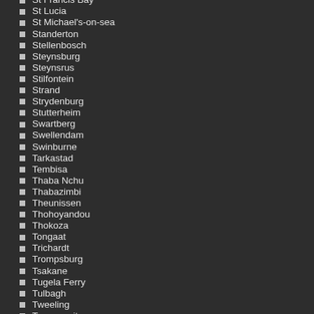St Francis Bay
St Lucia
St Michael's-on-sea
Standerton
Stellenbosch
Steynsburg
Steynsrus
Stilfontein
Strand
Strydenburg
Stutterheim
Swartberg
Swellendam
Swinburne
Tarkastad
Tembisa
Thaba Nchu
Thabazimbi
Theunissen
Thohoyandou
Thokoza
Tongaat
Trichardt
Trompsburg
Tsakane
Tugela Ferry
Tulbagh
Tweeling
Tweespruit